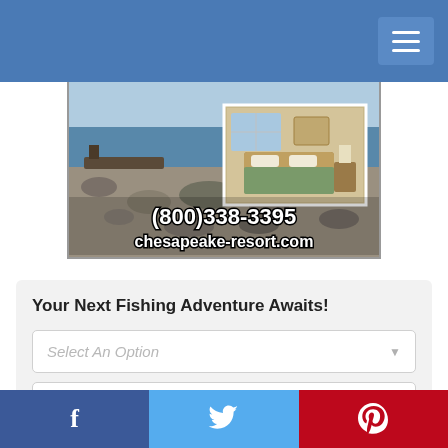Navigation header with blue background and hamburger menu
[Figure (photo): Chesapeake resort advertisement image showing beach/rocky shoreline with inset bedroom photo, overlaid with phone number (800)338-3395 and website chesapeake-resort.com]
Your Next Fishing Adventure Awaits!
Select An Option (dropdown 1)
Select An Option (dropdown 2)
Social bar with Facebook, Twitter, Pinterest buttons